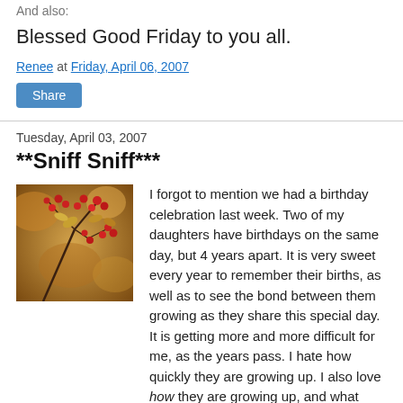And also:
Blessed Good Friday to you all.
Renee at Friday, April 06, 2007
Share
Tuesday, April 03, 2007
**Sniff Sniff***
[Figure (photo): Close-up photo of red berries and autumn leaves on branches with a warm, blurred bokeh background.]
I forgot to mention we had a birthday celebration last week. Two of my daughters have birthdays on the same day, but 4 years apart. It is very sweet every year to remember their births, as well as to see the bond between them growing as they share this special day. It is getting more and more difficult for me, as the years pass. I hate how quickly they are growing up. I also love how they are growing up, and what they are turning out to be like, but slow down,